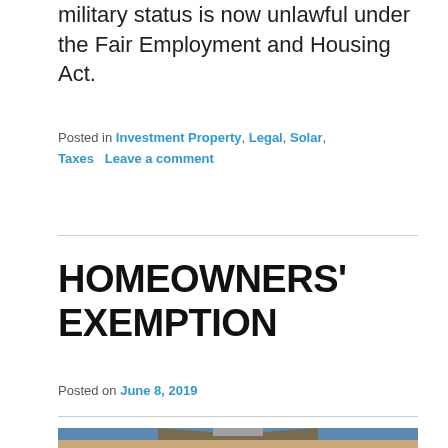military status is now unlawful under the Fair Employment and Housing Act.
Posted in Investment Property, Legal, Solar, Taxes   Leave a comment
HOMEOWNERS' EXEMPTION
Posted on June 8, 2019
[Figure (photo): Photo of a house exterior showing roofline and porch against a blue sky]